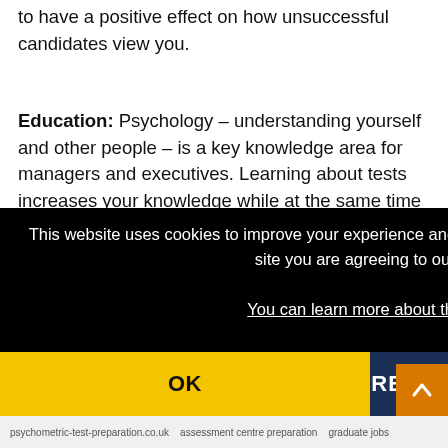to have a positive effect on how unsuccessful candidates view you.
Education: Psychology – understanding yourself and other people – is a key knowledge area for managers and executives. Learning about tests increases your knowledge while at the same time providing you with
This website uses cookies to improve your experience and for ads personalisation. By continuing to browse this site you are agreeing to our use of these cookies. You can learn more about the cookies we use here.
OK